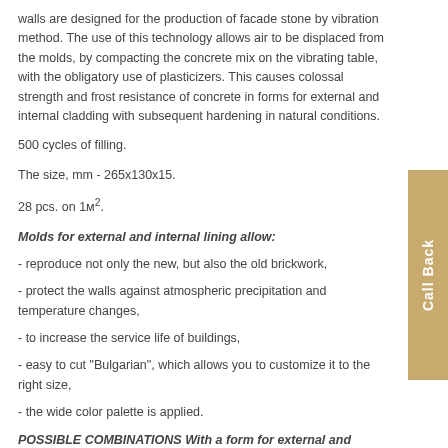walls are designed for the production of facade stone by vibration method. The use of this technology allows air to be displaced from the molds, by compacting the concrete mix on the vibrating table, with the obligatory use of plasticizers. This causes colossal strength and frost resistance of concrete in forms for external and internal cladding with subsequent hardening in natural conditions.
500 cycles of filling.
The size, mm - 265x130x15.
28 pcs. on 1м².
Molds for external and internal lining allow:
- reproduce not only the new, but also the old brickwork,
- protect the walls against atmospheric precipitation and temperature changes,
- to increase the service life of buildings,
- easy to cut "Bulgarian", which allows you to customize it to the right size,
- the wide color palette is applied.
POSSIBLE COMBINATIONS With a form for external and internal cladding Facade stone 270 * 130 combine the following forms: